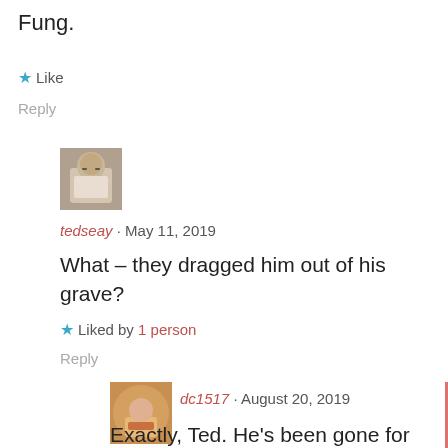Fung.
★ Like
Reply
[Figure (photo): Avatar photo of tedseay, a person with glasses]
tedseay · May 11, 2019
What – they dragged him out of his grave?
★ Liked by 1 person
Reply
[Figure (photo): Avatar photo of dc1517, showing a person with food]
dc1517 · August 20, 2019
Exactly, Ted. He's been gone for years.